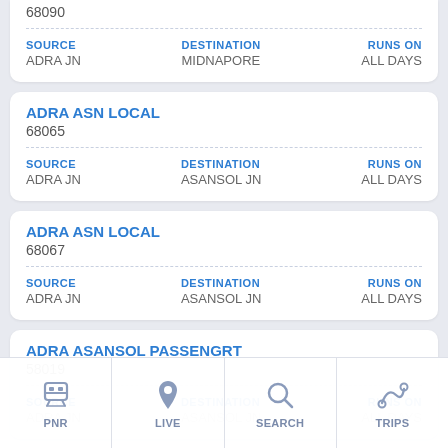68090
| SOURCE | DESTINATION | RUNS ON |
| --- | --- | --- |
| ADRA JN | MIDNAPORE | ALL DAYS |
ADRA ASN LOCAL
68065
| SOURCE | DESTINATION | RUNS ON |
| --- | --- | --- |
| ADRA JN | ASANSOL JN | ALL DAYS |
ADRA ASN LOCAL
68067
| SOURCE | DESTINATION | RUNS ON |
| --- | --- | --- |
| ADRA JN | ASANSOL JN | ALL DAYS |
ADRA ASANSOL PASSENGRT
58019
| SOURCE | DESTINATION | RUNS ON |
| --- | --- | --- |
| ADRA JN | ASANSOL JN | ALL DAYS |
PNR | LIVE | SEARCH | TRIPS